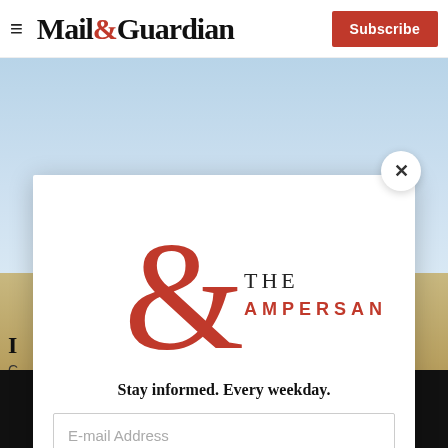Mail&Guardian | Subscribe
[Figure (photo): Landscape photo with blue sky and sandy/dry ground terrain]
I
C
[Figure (logo): The Ampersand newsletter logo — large red ampersand with 'THE AMPERSAND' text]
Stay informed. Every weekday.
E-mail Address
Signup now